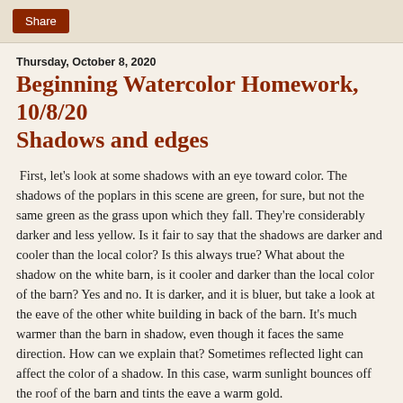Share
Thursday, October 8, 2020
Beginning Watercolor Homework, 10/8/20 Shadows and edges
First, let's look at some shadows with an eye toward color. The shadows of the poplars in this scene are green, for sure, but not the same green as the grass upon which they fall. They're considerably darker and less yellow. Is it fair to say that the shadows are darker and cooler than the local color? Is this always true? What about the shadow on the white barn, is it cooler and darker than the local color of the barn? Yes and no. It is darker, and it is bluer, but take a look at the eave of the other white building in back of the barn. It's much warmer than the barn in shadow, even though it faces the same direction. How can we explain that? Sometimes reflected light can affect the color of a shadow. In this case, warm sunlight bounces off the roof of the barn and tints the eave a warm gold.